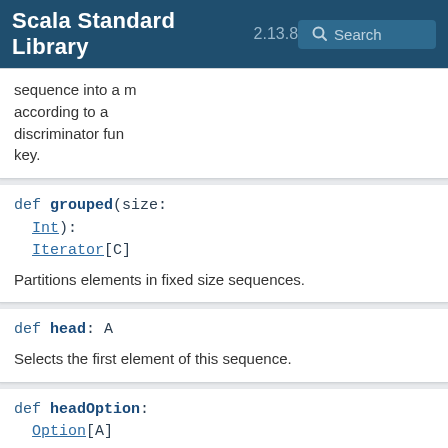Scala Standard Library 2.13.8
sequence into a map according to a discriminator fun key.
def grouped(size: Int): Iterator[C]
Partitions elements in fixed size sequences.
def head: A
Selects the first element of this sequence.
def headOption: Option[A]
Optionally selects the first element.